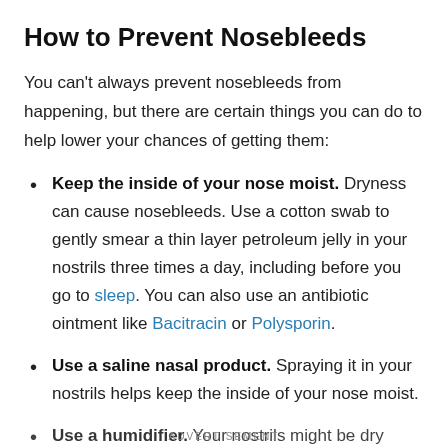How to Prevent Nosebleeds
You can’t always prevent nosebleeds from happening, but there are certain things you can do to help lower your chances of getting them:
Keep the inside of your nose moist. Dryness can cause nosebleeds. Use a cotton swab to gently smear a thin layer petroleum jelly in your nostrils three times a day, including before you go to sleep. You can also use an antibiotic ointment like Bacitracin or Polysporin.
Use a saline nasal product. Spraying it in your nostrils helps keep the inside of your nose moist.
Use a humidifier. Your nostrils might be dry because the…
ADVERTISEMENT